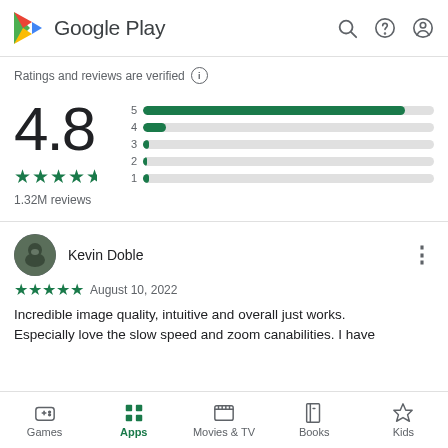Google Play
Ratings and reviews are verified
[Figure (bar-chart): Rating distribution]
4.8
1.32M reviews
Kevin Doble
★★★★★ August 10, 2022
Incredible image quality, intuitive and overall just works. Especially love the slow speed and zoom canabilities. I have
Games  Apps  Movies & TV  Books  Kids